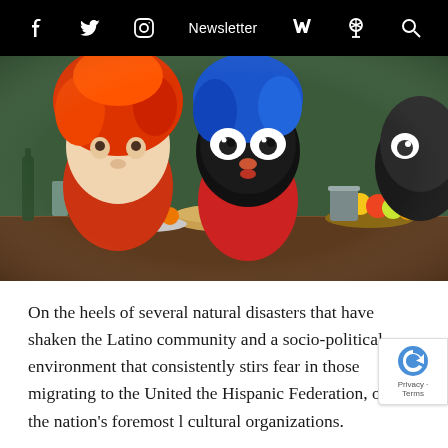f  [twitter]  [instagram]  Newsletter  [cart]  [podcast]  [search]
[Figure (photo): Animated clay or stop-motion characters with colorful hair (red, blue, black) leaning over a table with food including bread and fruits. Scene appears to be from an animated film or TV show.]
On the heels of several natural disasters that have shaken the Latino community and a socio-political environment that consistently stirs fear in those migrating to the United the Hispanic Federation, one of the nation's foremost l cultural organizations.